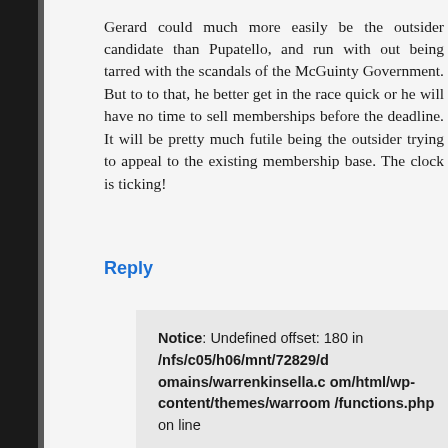Gerard could much more easily be the outsider candidate than Pupatello, and run with out being tarred with the scandals of the McGuinty Government. But to to that, he better get in the race quick or he will have no time to sell memberships before the deadline. It will be pretty much futile being the outsider trying to appeal to the existing membership base. The clock is ticking!
Reply
Notice: Undefined offset: 180 in /nfs/c05/h06/mnt/72829/domains/warrenkinsella.com/html/wp-content/themes/warroom/functions.php on line